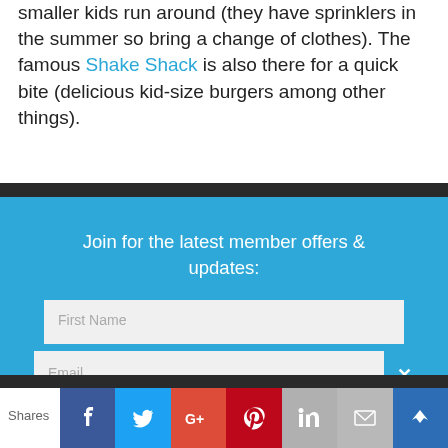smaller kids run around (they have sprinklers in the summer so bring a change of clothes). The famous Shake Shack is also there for a quick bite (delicious kid-size burgers among other things).
[Figure (screenshot): Blue subscription form panel with heading 'Join for the latest member offers & updates:', First Name input box, Email input box with close X button, and black Subscribe Me! button]
Shares
[Figure (infographic): Social sharing bar with icons for Facebook, Twitter, Google+, Pinterest, LinkedIn, Mail, and a crown/bookmark icon]